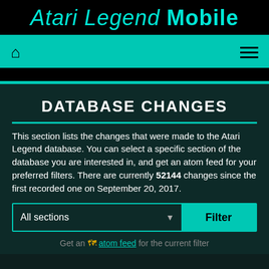Atari Legend Mobile
[Figure (screenshot): Navigation bar with home icon and hamburger menu on teal background]
DATABASE CHANGES
This section lists the changes that were made to the Atari Legend database. You can select a specific section of the database you are interested in, and get an atom feed for your preferred filters. There are currently 52144 changes since the first recorded one on September 20, 2017.
All sections  Filter
Get an atom feed for the current filter